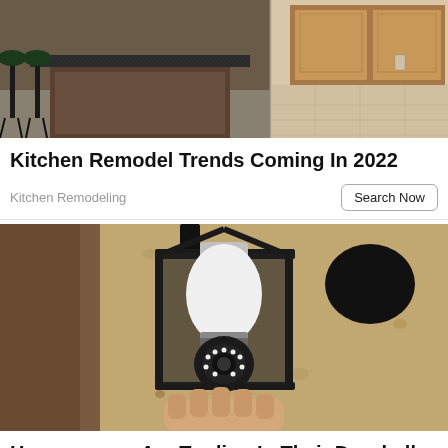[Figure (photo): Kitchen with dark bar stools at a granite-topped island on the left, and a hallway with light tile flooring and wooden cabinets on the right]
Kitchen Remodel Trends Coming In 2022
Kitchen Remodeling
[Figure (photo): A security camera shaped like a light bulb installed in a black outdoor lantern wall fixture against a textured stucco wall, held by a hand]
Homeowners Are Trading In Their Doorbell